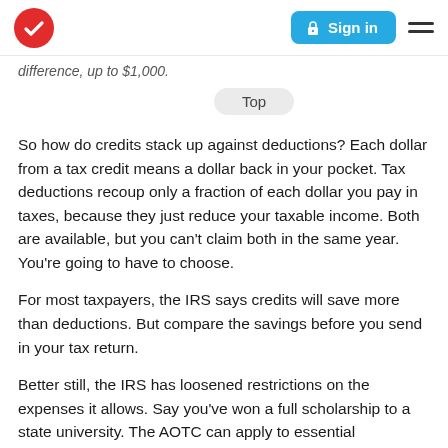TurboTax logo | Sign in | Menu
difference, up to $1,000.
Top
So how do credits stack up against deductions? Each dollar from a tax credit means a dollar back in your pocket. Tax deductions recoup only a fraction of each dollar you pay in taxes, because they just reduce your taxable income. Both are available, but you can't claim both in the same year. You're going to have to choose.
For most taxpayers, the IRS says credits will save more than deductions. But compare the savings before you send in your tax return.
Better still, the IRS has loosened restrictions on the expenses it allows. Say you've won a full scholarship to a state university. The AOTC can apply to essential textbooks, supplies and equipment, even computers.
For more college-related tax tips, visit TurboTax.com.
Remember, with TurboTax, we'll ask you simple questions